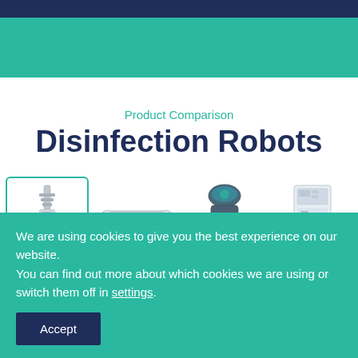Product Comparison
Disinfection Robots
[Figure (photo): Four disinfection robot products shown side by side: a UV tower robot in a teal-bordered box (selected), a horizontal UV bar robot, a compact cylindrical robot, and a white cabinet-style machine.]
We are using cookies to give you the best experience on our website.
You can find out more about which cookies we are using or switch them off in settings.
Accept